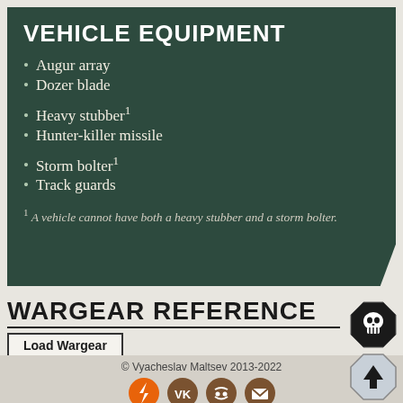VEHICLE EQUIPMENT
Augur array
Dozer blade
Heavy stubber¹
Hunter-killer missile
Storm bolter¹
Track guards
¹ A vehicle cannot have both a heavy stubber and a storm bolter.
WARGEAR REFERENCE
Load Wargear
© Vyacheslav Maltsev 2013-2022